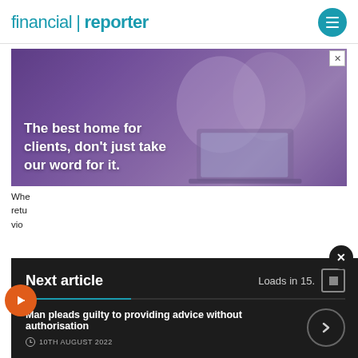financial | reporter
[Figure (photo): Advertisement photo showing two people (man and woman) sitting together looking at a laptop, with purple-tinted overlay. Text reads: The best home for clients, don't just take our word for it.]
Whe... retu... vio...
Next article — Loads in 15. — Man pleads guilty to providing advice without authorisation — 10TH AUGUST 2022
...h may lead to permission being removed through use of this new power.